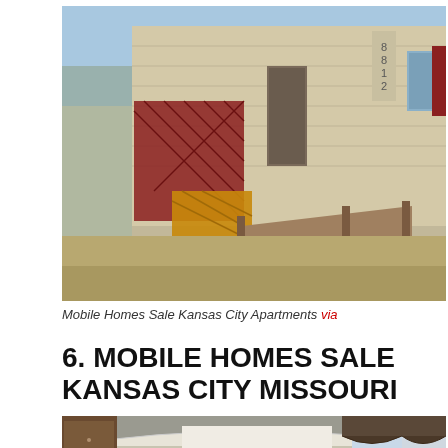[Figure (photo): Exterior of a mobile home with a wooden ramp and red lattice fence structure, house number 8812 visible, dry grass yard, winter trees in background.]
Mobile Homes Sale Kansas City Apartments via
6. MOBILE HOMES SALE KANSAS CITY MISSOURI
[Figure (photo): Interior of a mobile home showing an open floor plan with kitchen cabinets on the left, white curved ceiling, curtains with floral valances on windows at right.]